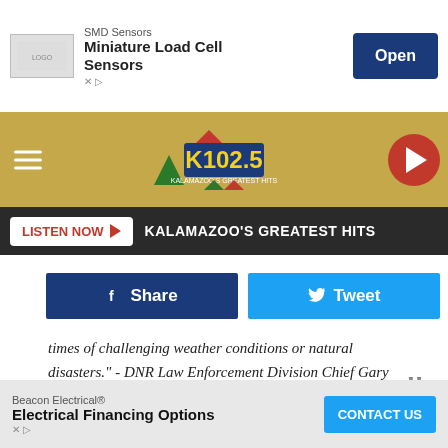[Figure (screenshot): Top advertisement banner: SMD Sensors Miniature Load Cell Sensors with Open button]
[Figure (screenshot): K102.5 Kalamazoo's Greatest Hits radio station banner with logo, hamburger menu, and play button]
[Figure (screenshot): Listen Now button bar with text KALAMAZOO'S GREATEST HITS]
[Figure (screenshot): Social sharing buttons: Share and Tweet]
times of challenging weather conditions or natural disasters.” - DNR Law Enforcement Division Chief Gary Hagler.
As always, we want to sincerely thank police, fire crews, EMS, DNR officers and all the good Samaritans who went out of their way and braved danger to help others during Michigan’s…
[Figure (screenshot): Bottom advertisement: Beacon Electrical Electrical Financing Options with CONTACT US button]